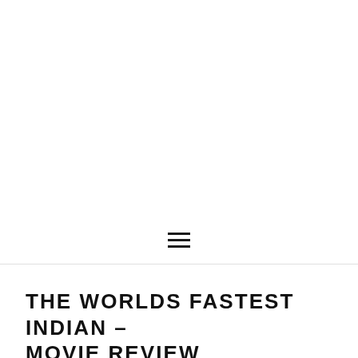[Figure (photo): Large white/blank image area at the top of the page, likely a photo placeholder or image that did not render]
☰
THE WORLDS FASTEST INDIAN – MOVIE REVIEW